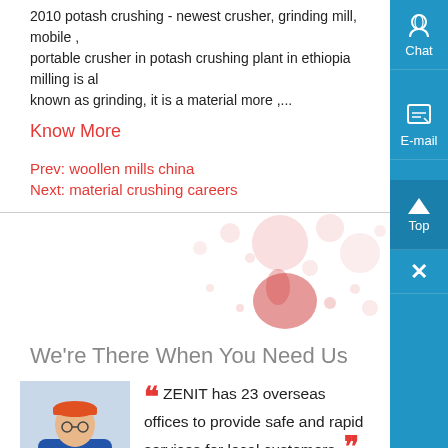2010 potash crushing - newest crusher, grinding mill, mobile , portable crusher in potash crushing plant in ethiopia milling is also known as grinding, it is a material more ,...
Know More
Prev: woollen mills china
Next: material crushing careers
[Figure (illustration): Decorative bubble/droplet graphic with red and pink circles on white background]
We're There When You Need Us
[Figure (photo): Photo of a worker wearing a red hard hat and blue/yellow work jacket with arms crossed]
ZENIT has 23 overseas offices to provide safe and rapid services for local customers.
- Jhon Kalis